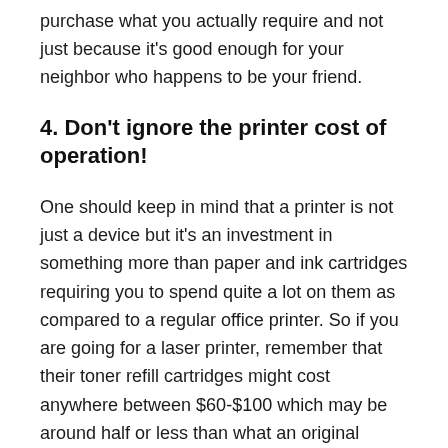purchase what you actually require and not just because it's good enough for your neighbor who happens to be your friend.
4. Don't ignore the printer cost of operation!
One should keep in mind that a printer is not just a device but it's an investment in something more than paper and ink cartridges requiring you to spend quite a lot on them as compared to a regular office printer. So if you are going for a laser printer, remember that their toner refill cartridges might cost anywhere between $60-$100 which may be around half or less than what an original cartridge would cost. However, if your choice lies with inkjet printers then your running costs will double as now ink refills are required which could be even higher depending upon the